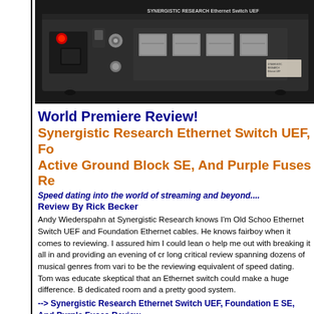[Figure (photo): Close-up photo of rear panel of Synergistic Research Ethernet Switch UEF device showing power connector, ethernet ports, and product label on dark chassis]
World Premiere Review!
Synergistic Research Ethernet Switch UEF, Foundation Ethernet Cables, Active Ground Block SE, And Purple Fuses Re
Speed dating into the world of streaming and beyond....
Review By Rick Becker
Andy Wiederspahn at Synergistic Research knows I'm Old School. He sent me the Ethernet Switch UEF and Foundation Ethernet cables. He knows I'm not exactly a fairboy when it comes to reviewing. I assured him I could lean on Tom Lyle to help me out with breaking it all in and providing an evening of critical listening. A long critical review spanning dozens of musical genres from various systems was to be the reviewing equivalent of speed dating. Tom was educated, but initially skeptical that an Ethernet switch could make a huge difference. Both he has a dedicated room and a pretty good system.
---> Synergistic Research Ethernet Switch UEF, Foundation Ethernet Cables, Active Ground Block SE, And Purple Fuses Review.